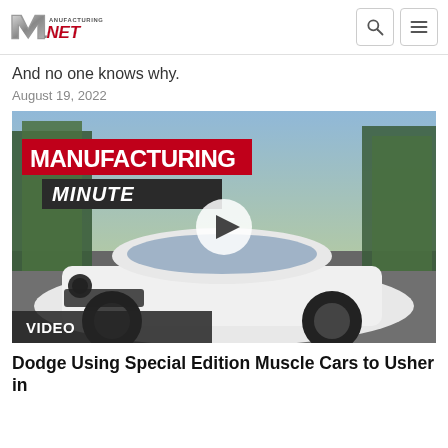Manufacturing.net logo with search and menu icons
And no one knows why.
August 19, 2022
[Figure (screenshot): Manufacturing Minute video thumbnail featuring a white Dodge Challenger muscle car driving on a road with trees in the background. Red banner reads MANUFACTURING MINUTE. A circular play button is in the center. A dark label at the bottom left reads VIDEO.]
Dodge Using Special Edition Muscle Cars to Usher in